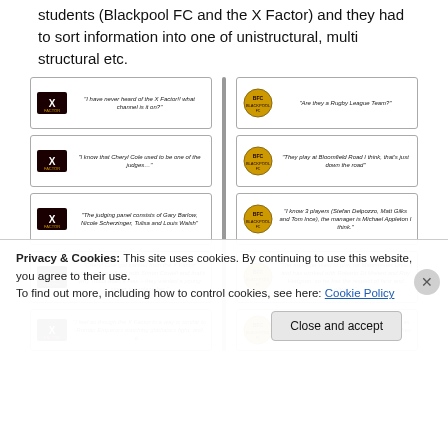students (Blackpool FC and the X Factor) and they had to sort information into one of unistructural, multi structural etc.
[Figure (illustration): Two columns of student response cards. Left column shows X Factor logo cards with quotes about the X Factor. Right column shows Blackpool FC crest cards with quotes about Blackpool FC. Cards show student knowledge at different levels.]
Privacy & Cookies: This site uses cookies. By continuing to use this website, you agree to their use.
To find out more, including how to control cookies, see here: Cookie Policy
Close and accept